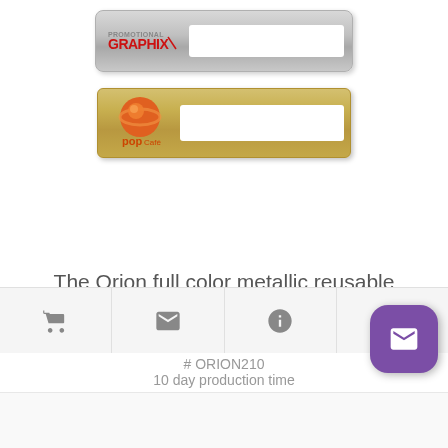[Figure (photo): Two metallic reusable name plates: top one is silver with Graphix logo and white insert area; bottom one is gold/tan with Pop Cafe logo and white insert area]
The Orion full color metallic reusable name plate 2"x10"
# ORION210
10 day production time
$11.48 - $30.46 | Min. Qty: 5
[Figure (infographic): Action bar with cart icon, email icon, and info icon; purple rounded square button with envelope icon]